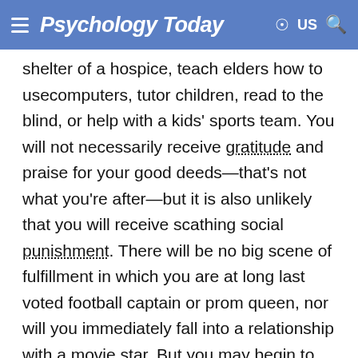Psychology Today
shelter of a hospice, teach elders how to usecomputers, tutor children, read to the blind, or help with a kids' sports team. You will not necessarily receive gratitude and praise for your good deeds—that's not what you're after—but it is also unlikely that you will receive scathing social punishment. There will be no big scene of fulfillment in which you are at long last voted football captain or prom queen, nor will you immediately fall into a relationship with a movie star. But you may begin to feel the positive sensations that can reinforce your desire to change, while building your confidence, while improving your ability to self-regulate. Even "small